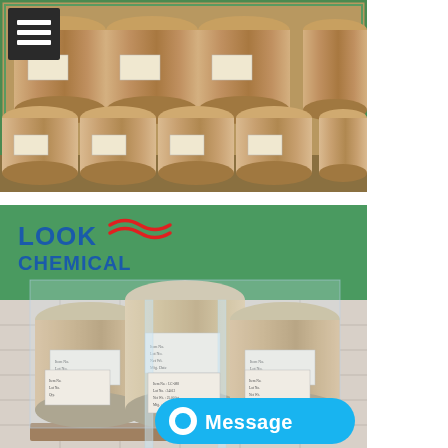[Figure (photo): Photograph of multiple large cardboard/kraft paper drums arranged in rows inside a green shipping container. A dark menu/hamburger icon overlay appears in the top-left corner.]
[Figure (photo): Photograph of large cylindrical drums wrapped in transparent plastic stretch wrap on a pallet, with a 'Look Chemical' logo visible in the top-left (blue text with red wave). A blue 'Message' chat button appears in the bottom-right corner.]